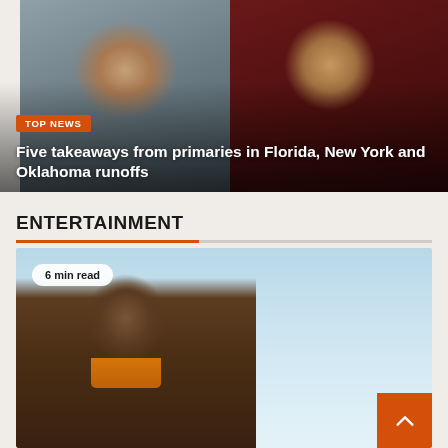[Figure (photo): Split photo of two politicians side by side — an older man on the left against a blurred outdoor background, and a younger man on the right in front of a dark background with a red tie. TOP NEWS badge and headline overlay at bottom.]
Five takeaways from primaries in Florida, New York and Oklahoma runoffs
ENTERTAINMENT
[Figure (photo): A man in a brown suit with an orange-yellow shirt stands against a light blue sky background. A '6 min read' pill badge appears in the top-left corner of the image.]